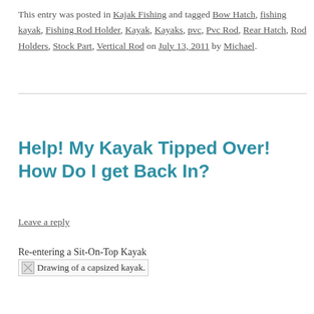This entry was posted in Kajak Fishing and tagged Bow Hatch, fishing kayak, Fishing Rod Holder, Kayak, Kayaks, pvc, Pvc Rod, Rear Hatch, Rod Holders, Stock Part, Vertical Rod on July 13, 2011 by Michael.
Help! My Kayak Tipped Over! How Do I get Back In?
Leave a reply
Re-entering a Sit-On-Top Kayak
[Figure (illustration): Broken image placeholder with alt text: Drawing of a capsized kayak.]